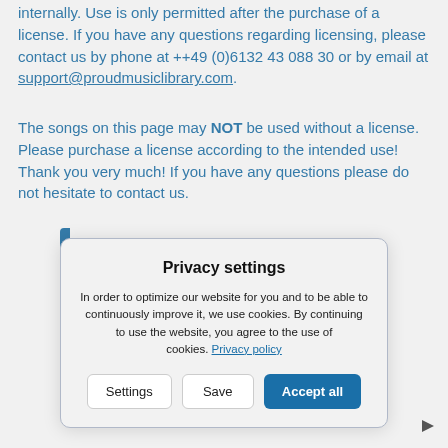internally. Use is only permitted after the purchase of a license. If you have any questions regarding licensing, please contact us by phone at ++49 (0)6132 43 088 30 or by email at support@proudmusiclibrary.com.
The songs on this page may NOT be used without a license. Please purchase a license according to the intended use! Thank you very much! If you have any questions please do not hesitate to contact us.
Privacy settings
In order to optimize our website for you and to be able to continuously improve it, we use cookies. By continuing to use the website, you agree to the use of cookies. Privacy policy